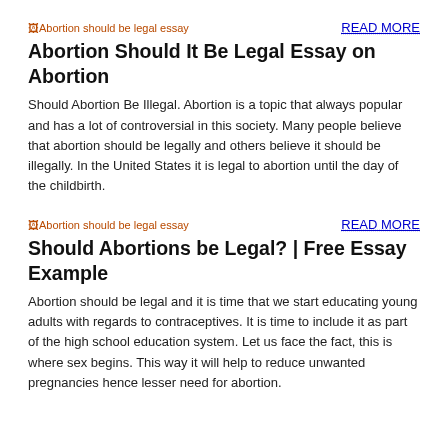[Figure (illustration): Broken image placeholder with alt text 'Abortion should be legal essay' shown in red/orange color]
READ MORE
Abortion Should It Be Legal Essay on Abortion
Should Abortion Be Illegal. Abortion is a topic that always popular and has a lot of controversial in this society. Many people believe that abortion should be legally and others believe it should be illegally. In the United States it is legal to abortion until the day of the childbirth.
[Figure (illustration): Broken image placeholder with alt text 'Abortion should be legal essay' shown in red/orange color]
READ MORE
Should Abortions be Legal? | Free Essay Example
Abortion should be legal and it is time that we start educating young adults with regards to contraceptives. It is time to include it as part of the high school education system. Let us face the fact, this is where sex begins. This way it will help to reduce unwanted pregnancies hence lesser need for abortion.